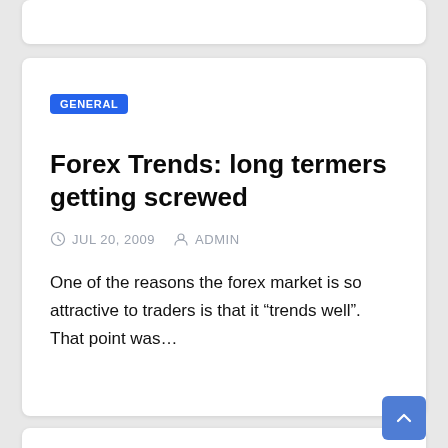GENERAL
Forex Trends: long termers getting screwed
JUL 20, 2009   ADMIN
One of the reasons the forex market is so attractive to traders is that it “trends well”. That point was…
GENERAL